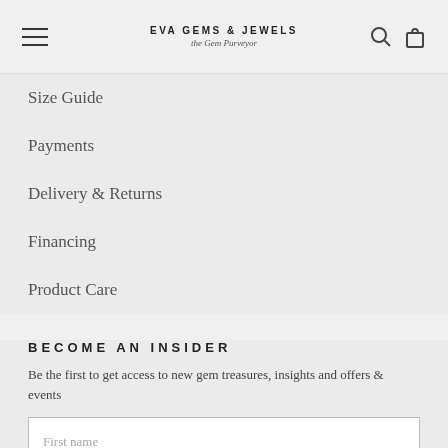EVA GEMS & JEWELS — the Gem Purveyor
Size Guide
Payments
Delivery & Returns
Financing
Product Care
BECOME AN INSIDER
Be the first to get access to new gem treasures, insights and offers & events
First name